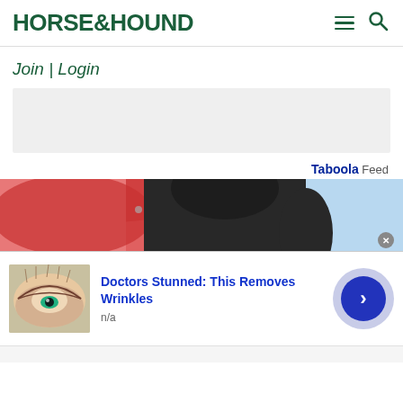HORSE&HOUND
Join | Login
[Figure (other): Grey advertisement placeholder banner]
Taboola Feed
[Figure (photo): Close-up photo of a jockey wearing a red helmet and black riding hat against a light blue sky]
[Figure (photo): Advertisement: close-up illustration of an elderly woman's eye with dramatic makeup. Title: Doctors Stunned: This Removes Wrinkles. Source: n/a]